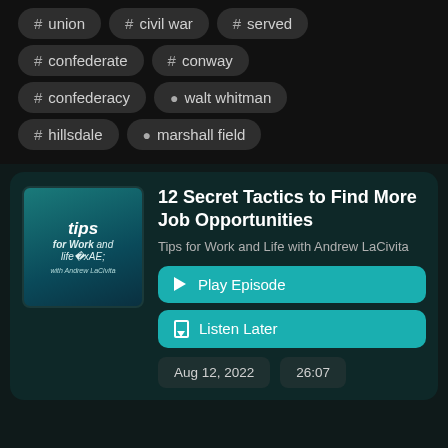# union   # civil war   # served
# confederate   # conway
# confederacy   👤 walt whitman
# hillsdale   👤 marshall field
[Figure (screenshot): Podcast card for '12 Secret Tactics to Find More Job Opportunities' from Tips for Work and Life with Andrew LaCivita, showing Play Episode and Listen Later buttons, date Aug 12, 2022, duration 26:07]
12 Secret Tactics to Find More Job Opportunities
Tips for Work and Life with Andrew LaCivita
▶ Play Episode
🔖 Listen Later
Aug 12, 2022   26:07